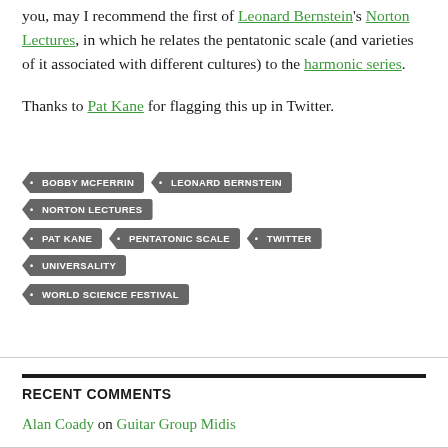you, may I recommend the first of Leonard Bernstein's Norton Lectures, in which he relates the pentatonic scale (and varieties of it associated with different cultures) to the harmonic series.
Thanks to Pat Kane for flagging this up in Twitter.
BOBBY MCFERRIN
LEONARD BERNSTEIN
NORTON LECTURES
PAT KANE
PENTATONIC SCALE
TWITTER
UNIVERSALITY
WORLD SCIENCE FESTIVAL
RECENT COMMENTS
Alan Coady on Guitar Group Midis